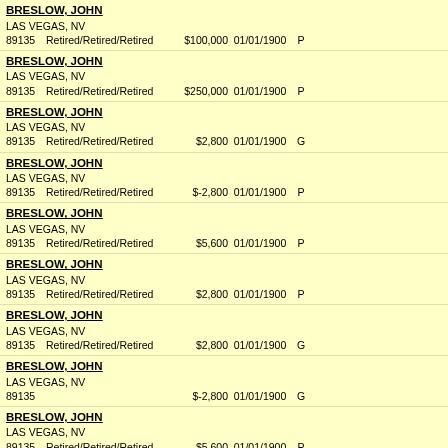| Name/Address | Occupation | Amount | Date | Type | Recipient |
| --- | --- | --- | --- | --- | --- |
| BRESLOW, JOHN
LAS VEGAS, NV
89135 | Retired/Retired/Retired | $100,000 | 01/01/1900 | P | TRUMP VICTOR... |
| BRESLOW, JOHN
LAS VEGAS, NV
89135 | Retired/Retired/Retired | $250,000 | 01/01/1900 | P | TRUMP VICTOR... |
| BRESLOW, JOHN
LAS VEGAS, NV
89135 | Retired/Retired/Retired | $2,800 | 01/01/1900 | G | PERDUE FOR S... |
| BRESLOW, JOHN
LAS VEGAS, NV
89135 | Retired/Retired/Retired | $-2,800 | 01/01/1900 | P | PERDUE FOR S... |
| BRESLOW, JOHN
LAS VEGAS, NV
89135 | Retired/Retired/Retired | $5,600 | 01/01/1900 | P | PERDUE FOR S... |
| BRESLOW, JOHN
LAS VEGAS, NV
89135 | Retired/Retired/Retired | $2,800 | 01/01/1900 | P | ZELDIN FOR CO... |
| BRESLOW, JOHN
LAS VEGAS, NV
89135 | Retired/Retired/Retired | $2,800 | 01/01/1900 | G | ZELDIN FOR CO... |
| BRESLOW, JOHN
LAS VEGAS, NV
89135 |  | $-2,800 | 01/01/1900 | G | GRADEL FOR C... |
| BRESLOW, JOHN
LAS VEGAS, NV
89135 | Retired/Retired/Retired | $5,600 | 01/01/1900 | P | CORY FOR COL... |